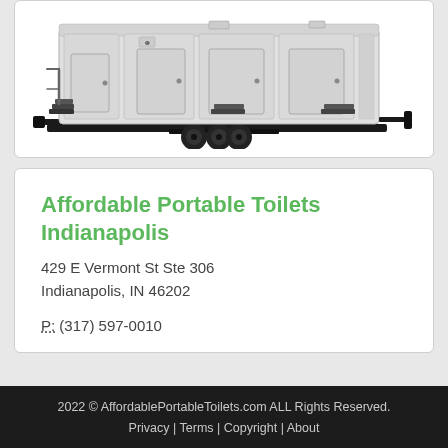[Figure (photo): Photo of a large portable restroom trailer (luxury restroom trailer) on a black trailer frame with dual axles, light grey/white exterior with multiple doors and steps]
Affordable Portable Toilets Indianapolis
429 E Vermont St Ste 306
Indianapolis, IN 46202
P: (317) 597-0010
2022 © AffordablePortableToilets.com ALL Rights Reserved.
Privacy | Terms | Copyright | About